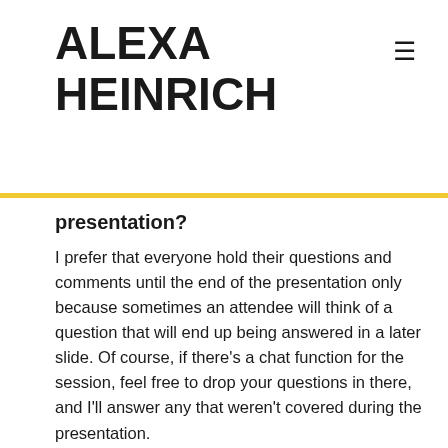ALEXA HEINRICH
presentation?
I prefer that everyone hold their questions and comments until the end of the presentation only because sometimes an attendee will think of a question that will end up being answered in a later slide. Of course, if there's a chat function for the session, feel free to drop your questions in there, and I'll answer any that weren't covered during the presentation.
Will you provide your slide deck after the presentation?
Yes. After my presentation, I will email a link to download my full slide deck with speaker notes.